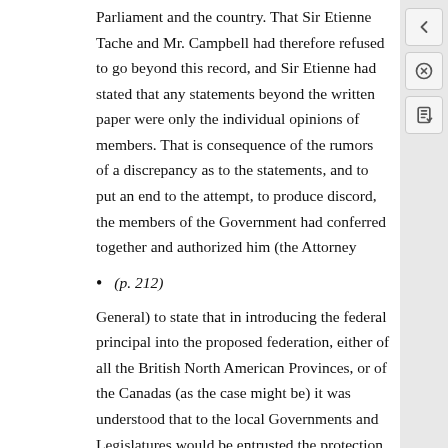Parliament and the country. That Sir Etienne Tache and Mr. Campbell had therefore refused to go beyond this record, and Sir Etienne had stated that any statements beyond the written paper were only the individual opinions of members. That is consequence of the rumors of a discrepancy as to the statements, and to put an end to the attempt, to produce discord, the members of the Government had conferred together and authorized him (the Attorney
(p. 212)
General) to state that in introducing the federal principal into the proposed federation, either of all the British North American Provinces, or of the Canadas (as the case might be) it was understood that to the local Governments and Legislatures would be entrusted the protection of all local laws, interests and institutions, and that no agreement had been, or could be made as to the